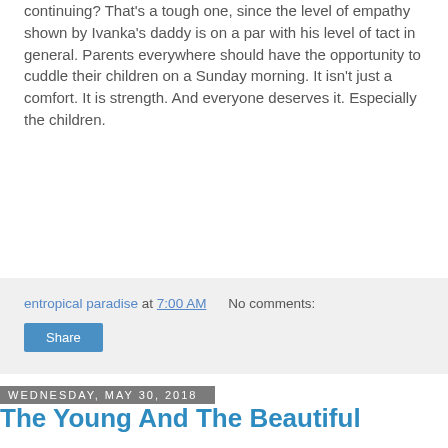continuing? That's a tough one, since the level of empathy shown by Ivanka's daddy is on a par with his level of tact in general. Parents everywhere should have the opportunity to cuddle their children on a Sunday morning. It isn't just a comfort. It is strength. And everyone deserves it. Especially the children.
entropical paradise at 7:00 AM  No comments:
Share
Wednesday, May 30, 2018
The Young And The Beautiful
Hey, I've got this great pitch for a new nighttime soap for the networks. Or maybe Netflix. It goes a little something like this: Who's going to give back the young and beautiful lives (and others) that have been devastated and destroyed by the phony Russia Collusion Witch Hunt? They journeyed down to Washington, D.C., with stars in their eyes and wanting to help our nation...They went back home in tatters!